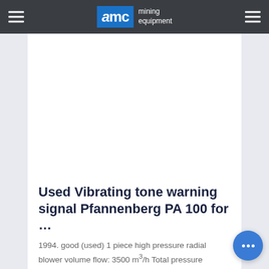AMC mining equipment
[Figure (photo): Product image placeholder — white rectangular area showing used vibrating tone warning signal Pfannenberg PA 100]
Used Vibrating tone warning signal Pfannenberg PA 100 for ...
1994. good (used) 1 piece high pressure radial blower volume flow: 3500 m³/h Total pressure increase: 10095 Pa Density d. Gef. medium 1.2